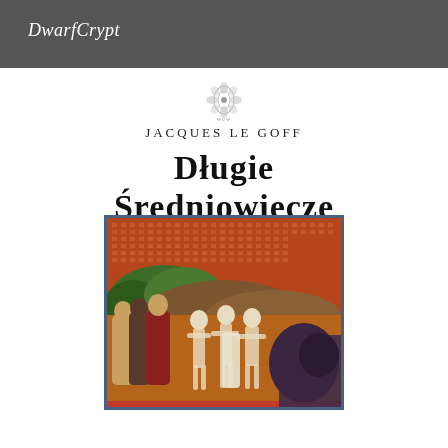DwarfCrypt
[Figure (logo): Small publisher logo/emblem with floral motif and text arc]
Jacques Le Goff
Długie Średniowiecze
[Figure (illustration): Medieval illuminated-style painting showing skeletal figures (Dance of Death) alongside living people in robes, set against a decorative patterned background with green hills and a dark beast on the right.]